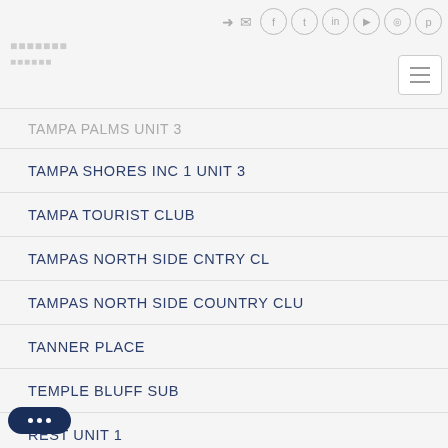Social navigation icons and menu button
TAMPA PALMS UNIT 3 (partially visible)
TAMPA SHORES INC 1 UNIT 3
TAMPA TOURIST CLUB
TAMPAS NORTH SIDE CNTRY CL
TAMPAS NORTH SIDE COUNTRY CLU
TANNER PLACE
TEMPLE BLUFF SUB
REST UNIT 1 (partially visible)